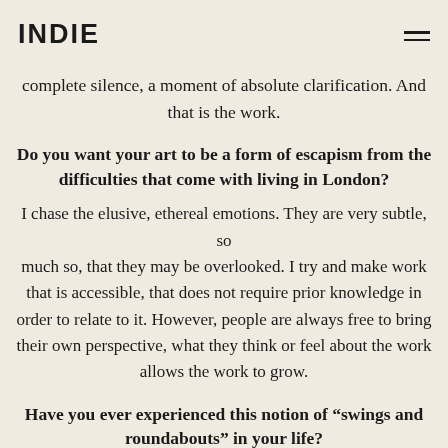INDIE
complete silence, a moment of absolute clarification. And that is the work.
Do you want your art to be a form of escapism from the difficulties that come with living in London?
I chase the elusive, ethereal emotions. They are very subtle, so much so, that they may be overlooked. I try and make work that is accessible, that does not require prior knowledge in order to relate to it. However, people are always free to bring their own perspective, what they think or feel about the work allows the work to grow.
Have you ever experienced this notion of “swings and roundabouts” in your life?
I think if you live in London you are signed in a social